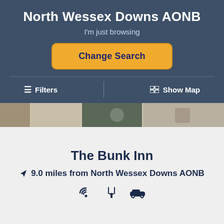North Wessex Downs AONB
I'm just browsing
Change Search
≡  Filters
Show Map
[Figure (photo): Photo strip of accommodation images]
The Bunk Inn
9.0 miles from North Wessex Downs AONB
[Figure (infographic): Amenity icons: WiFi, restaurant/food, parking/car]